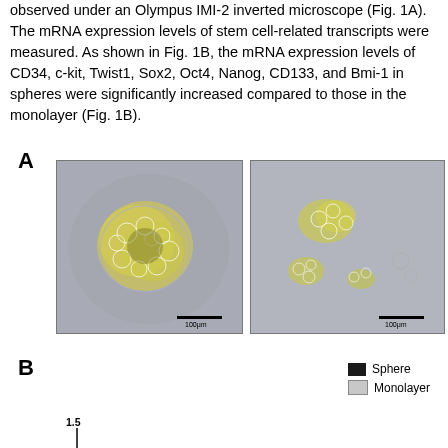observed under an Olympus IMI-2 inverted microscope (Fig. 1A). The mRNA expression levels of stem cell-related transcripts were measured. As shown in Fig. 1B, the mRNA expression levels of CD34, c-kit, Twist1, Sox2, Oct4, Nanog, CD133, and Bmi-1 in spheres were significantly increased compared to those in the monolayer (Fig. 1B).
[Figure (photo): Panel A: Two microscopy images side by side showing cell spheres observed under an Olympus inverted microscope. Left image shows a dense cluster of cells with yellow-green fluorescence against a gray background, with a 100μm scale bar. Right image shows more dispersed cell clusters against a gray background, also with a 100μm scale bar.]
[Figure (bar-chart): Panel B: Partial bar chart showing mRNA expression levels. Legend shows Sphere (black) and Monolayer (gray). Y-axis starts at 1.5. Chart is partially cut off at bottom of page.]